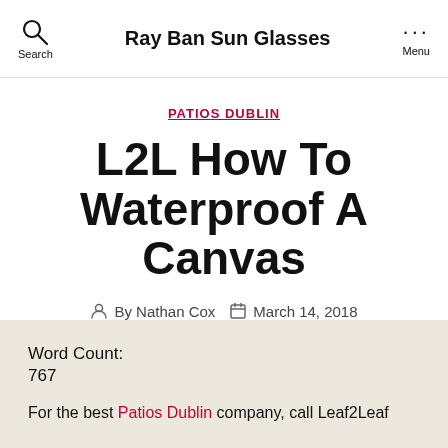Ray Ban Sun Glasses
PATIOS DUBLIN
L2L How To Waterproof A Canvas
By Nathan Cox  March 14, 2018
Word Count:
767
For the best Patios Dublin company, call Leaf2Leaf